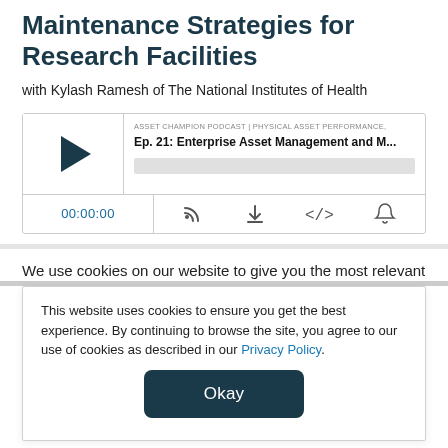Maintenance Strategies for Research Facilities
with Kylash Ramesh of The National Institutes of Health
[Figure (screenshot): Podcast audio player widget showing episode: Ep. 21: Enterprise Asset Management and M... with play button, timestamp 00:00:00, and controls for stream, download, embed, and share.]
We use cookies on our website to give you the most relevant
This website uses cookies to ensure you get the best experience. By continuing to browse the site, you agree to our use of cookies as described in our Privacy Policy.
Okay